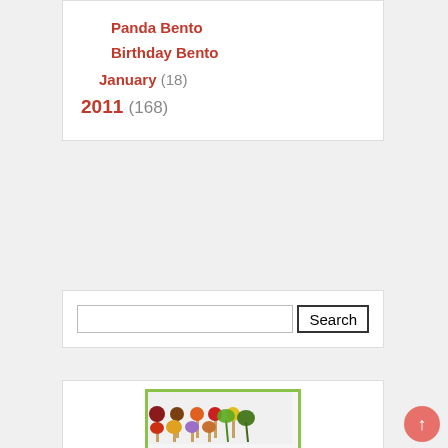Panda Bento
Birthday Bento
January (18)
2011 (168)
Search
[Figure (photo): Colorful animal and fruit food picks/skewers arranged in two rows — top row has fruit shapes, bottom row has animal shapes (bear, lion, bunny, monkey) plus leaf picks.]